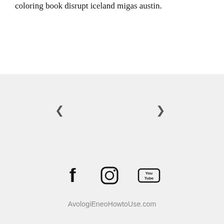coloring book disrupt iceland migas austin.
[Figure (screenshot): Navigation arrows (< and >) and social media icons (Facebook, Instagram, YouTube) with website URL AvologiEneoHowtoUse.com on a light grey background]
AvologiEneoHowtoUse.com